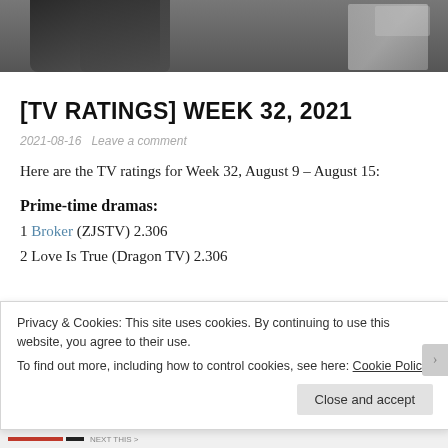[Figure (photo): Top image strip showing two people (a couple) in dark jackets, partially cropped, with blurred background]
[TV RATINGS] WEEK 32, 2021
2021-08-16   Leave a comment
Here are the TV ratings for Week 32, August 9 – August 15:
Prime-time dramas:
1 Broker (ZJSTV) 2.306
2 Love Is True (Dragon TV) 2.306
Privacy & Cookies: This site uses cookies. By continuing to use this website, you agree to their use.
To find out more, including how to control cookies, see here: Cookie Policy